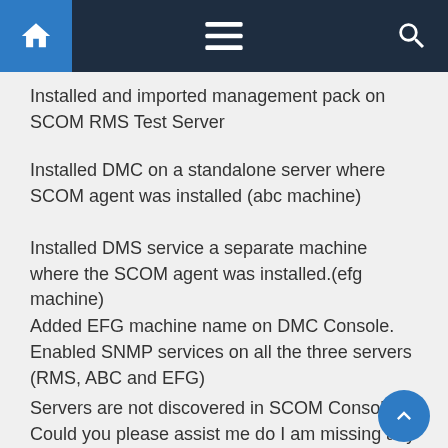Navigation bar with home, menu, and search icons
Installed and imported management pack on SCOM RMS Test Server
Installed DMC on a standalone server where SCOM agent was installed (abc machine)
Installed DMS service a separate machine where the SCOM agent was installed.(efg machine)
Added EFG machine name on DMC Console.
Enabled SNMP services on all the three servers (RMS, ABC and EFG)
Servers are not discovered in SCOM Console, Could you please assist me do I am missing any steps?
Could you please let me know what details do we need to given in ADD ONBOARD